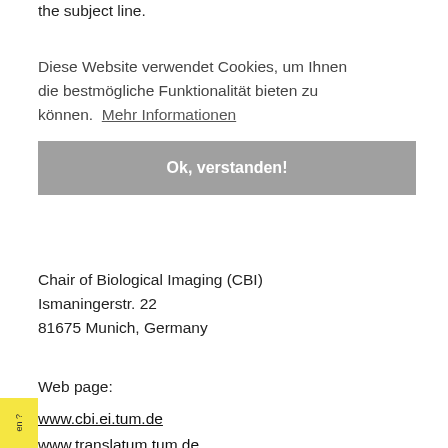the subject line.
Diese Website verwendet Cookies, um Ihnen die bestmögliche Funktionalität bieten zu können.  Mehr Informationen
Ok, verstanden!
Chair of Biological Imaging (CBI)
Ismaningerstr. 22
81675 Munich, Germany
Web page:
www.cbi.ei.tum.de
www.translatum.tum.de
www.pioneercampus.de